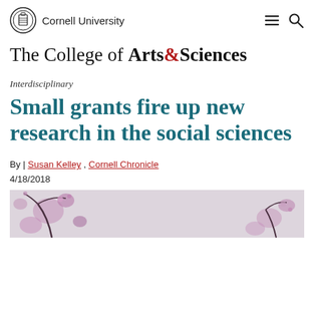Cornell University
The College of Arts&Sciences
Interdisciplinary
Small grants fire up new research in the social sciences
By | Susan Kelley , Cornell Chronicle
4/18/2018
[Figure (photo): Partial photo of flowering branches with pink/purple blossoms against a light background, cropped at bottom of page]